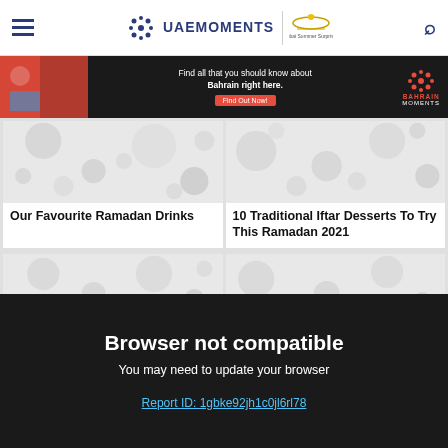UAE Moments
[Figure (screenshot): Bahrain Moments advertisement banner: Find all that you should know about Bahrain right here. Find Out Now!]
[Figure (photo): Placeholder image for article: Our Favourite Ramadan Drinks]
Our Favourite Ramadan Drinks
[Figure (photo): Placeholder image for article: 10 Traditional Iftar Desserts To Try This Ramadan 2021]
10 Traditional Iftar Desserts To Try This Ramadan 2021
[Figure (photo): Placeholder image for bottom-left article card]
[Figure (photo): Placeholder image for bottom-right article card]
Browser not compatible
You may need to update your browser
Report ID: 1gbke92jh1c0jl6rl78